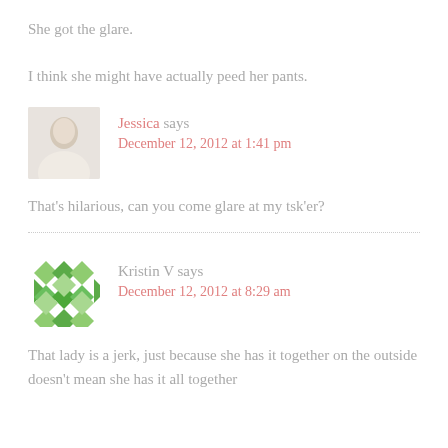She got the glare.
I think she might have actually peed her pants.
Jessica says
December 12, 2012 at 1:41 pm
That’s hilarious, can you come glare at my tsk’er?
Kristin V says
December 12, 2012 at 8:29 am
That lady is a jerk, just because she has it together on the outside doesn’t mean she has it all together